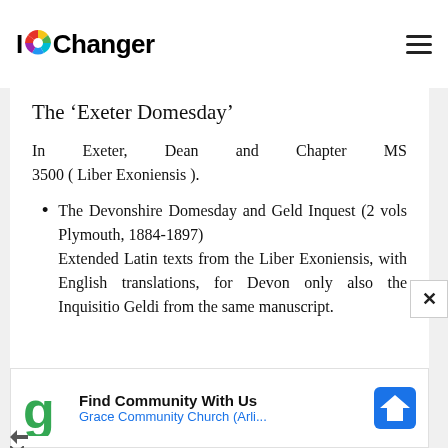IOChanger
The 'Exeter Domesday'
In Exeter, Dean and Chapter MS 3500 ( Liber Exoniensis ).
The Devonshire Domesday and Geld Inquest (2 vols Plymouth, 1884-1897) Extended Latin texts from the Liber Exoniensis, with English translations, for Devon only also the Inquisitio Geldi from the same manuscript.